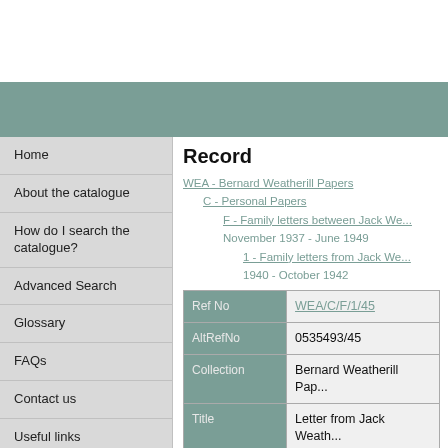Record
WEA - Bernard Weatherill Papers > C - Personal Papers > F - Family letters between Jack Wea... November 1937 - June 1949 > 1 - Family letters from Jack Wea... 1940 - October 1942
| Field | Value |
| --- | --- |
| Ref No | WEA/C/F/1/45 |
| AltRefNo | 0535493/45 |
| Collection | Bernard Weatherill Pap... |
| Title | Letter from Jack Weath... 1942 |
| Name of creator | Weatherill, Bruce Berna... Speaker of the House o... |
Home
About the catalogue
How do I search the catalogue?
Advanced Search
Glossary
FAQs
Contact us
Useful links